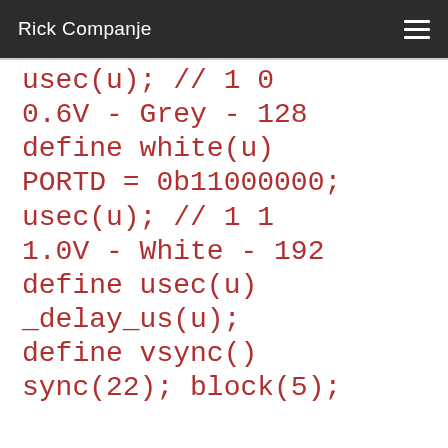Rick Companje
usec(u); // 1 0
0.6V - Grey - 128
define white(u)
PORTD = 0b11000000;
usec(u); // 1 1
1.0V - White - 192
define usec(u)
_delay_us(u);
define vsync()
sync(22); block(5);